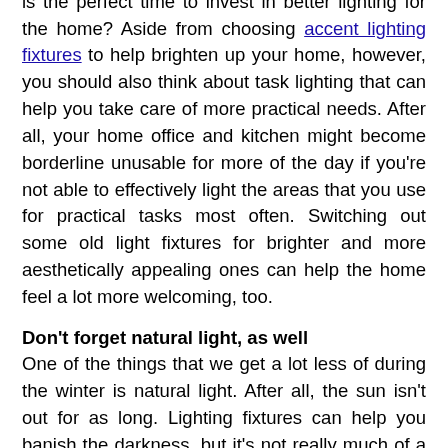lot longer, so doesn't it only make sense that now is the perfect time to invest in better lighting for the home? Aside from choosing accent lighting fixtures to help brighten up your home, however, you should also think about task lighting that can help you take care of more practical needs. After all, your home office and kitchen might become borderline unusable for more of the day if you're not able to effectively light the areas that you use for practical tasks most often. Switching out some old light fixtures for brighter and more aesthetically appealing ones can help the home feel a lot more welcoming, too.
Don't forget natural light, as well
One of the things that we get a lot less of during the winter is natural light. After all, the sun isn't out for as long. Lighting fixtures can help you banish the darkness, but it's not really much of a replacement for the light of the sun. A lot of people in winter can be especially vulnerable to changes in their mental health as a result, with Seasonal Affective Disorder being the biggest concern of the lot. As such, one should look at ways to maximize the natural light that the home gets for as long as possible. This can include opting for lighter window